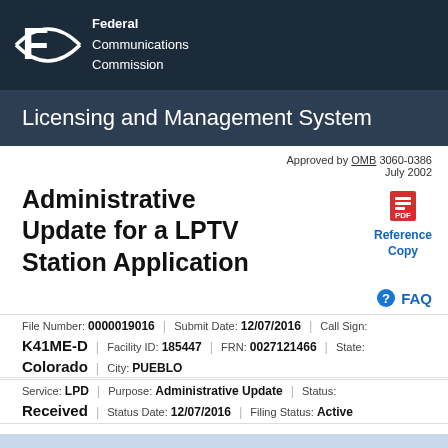[Figure (logo): FCC Federal Communications Commission logo on dark background header]
Licensing and Management System
Approved by OMB 3060-0386
July 2002
Administrative Update for a LPTV Station Application
Reference Copy
FAQ
| File Number: | 0000019016 | Submit Date: | 12/07/2016 | Call Sign: |
| K41ME-D | Facility ID: | 185447 | FRN: | 0027121466 | State: |
| Colorado | City: | PUEBLO |
| Service: | LPD | Purpose: | Administrative Update | Status: |
| Received | Status Date: | 12/07/2016 | Filing Status: | Active |